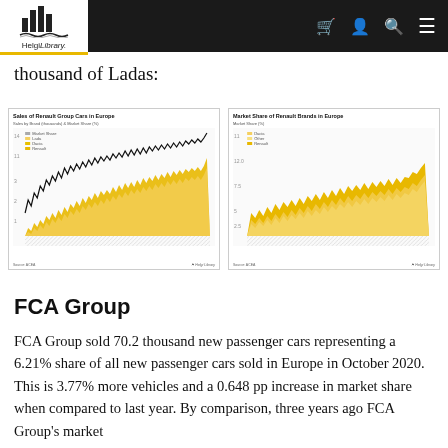Helgi Library
thousand of Ladas:
[Figure (area-chart): Sales by Brand (thousands) & Market Share (%) — stacked area chart with a black market share line overlay, yellow/gold color bands for Renault, Dacia, Lada brands over time]
[Figure (area-chart): Market Share (%) — stacked area chart showing Dacia, Renault, Other brand market share over time in yellow/gold tones]
FCA Group
FCA Group sold 70.2 thousand new passenger cars representing a 6.21% share of all new passenger cars sold in Europe in October 2020. This is 3.77% more vehicles and a 0.648 pp increase in market share when compared to last year. By comparison, three years ago FCA Group's market